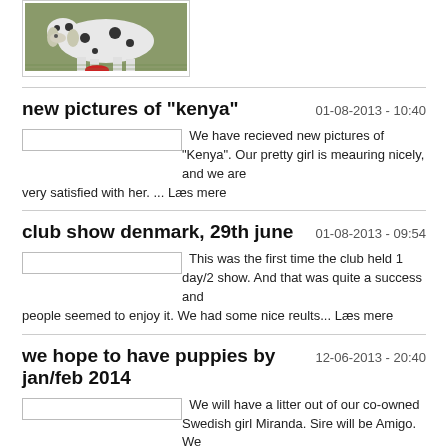[Figure (photo): Partial photo of a spotted dog (Dalmatian or similar breed) on grass, shown cropped at top of page]
new pictures of "kenya"
01-08-2013 - 10:40
We have recieved new pictures of "Kenya". Our pretty girl is meauring nicely, and we are very satisfied with her. ... Læs mere
club show denmark, 29th june
01-08-2013 - 09:54
This was the first time the club held 1 day/2 show. And that was quite a success and people seemed to enjoy it. We had some nice reults... Læs mere
we hope to have puppies by jan/feb 2014
12-06-2013 - 20:40
We will have a litter out of our co-owned Swedish girl Miranda. Sire will be Amigo. We expect some beautiful babies in this litter and we are happy to be able to mix these lines. ... Læs mere